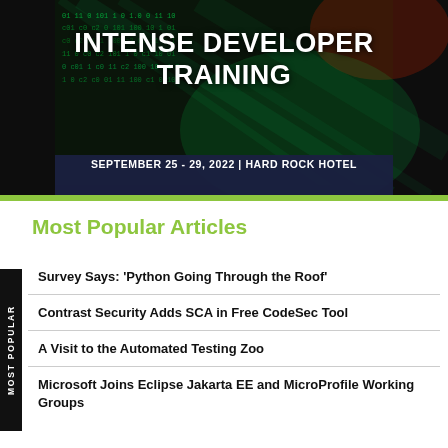[Figure (illustration): Dark background banner with green glowing code/matrix visual effect showing binary and numbers, overlaid with bold white text 'INTENSE DEVELOPER TRAINING' and a date bar below]
INTENSE DEVELOPER TRAINING
SEPTEMBER 25 - 29, 2022 | HARD ROCK HOTEL
Most Popular Articles
Survey Says: 'Python Going Through the Roof'
Contrast Security Adds SCA in Free CodeSec Tool
A Visit to the Automated Testing Zoo
Microsoft Joins Eclipse Jakarta EE and MicroProfile Working Groups